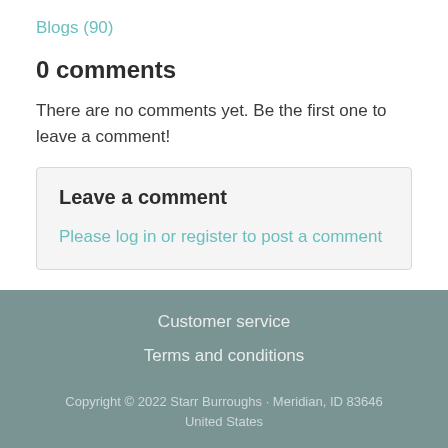Blogs (90)
0 comments
There are no comments yet. Be the first one to leave a comment!
Leave a comment
Please log in or register to post a comment
Customer service
Terms and conditions
Copyright © 2022 Starr Burroughs · Meridian, ID 83646 United States